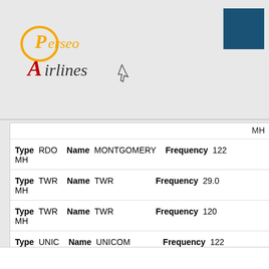[Figure (logo): Perseo Airlines logo with orange and red italic text and a cursor icon]
| Type | RDO | Name | MONTGOMERY | Frequency | 122... MHz |
| Type | TWR | Name | TWR | Frequency | 29.0... MHz |
| Type | TWR | Name | TWR | Frequency | 120... MHz |
| Type | UNIC | Name | UNICOM | Frequency | 122... MHz |